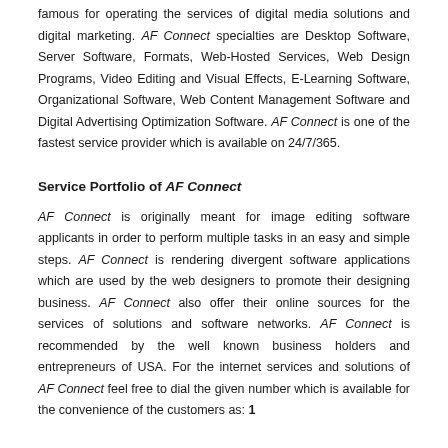famous for operating the services of digital media solutions and digital marketing. AF Connect specialties are Desktop Software, Server Software, Formats, Web-Hosted Services, Web Design Programs, Video Editing and Visual Effects, E-Learning Software, Organizational Software, Web Content Management Software and Digital Advertising Optimization Software. AF Connect is one of the fastest service provider which is available on 24/7/365.
Service Portfolio of AF Connect
AF Connect is originally meant for image editing software applicants in order to perform multiple tasks in an easy and simple steps. AF Connect is rendering divergent software applications which are used by the web designers to promote their designing business. AF Connect also offer their online sources for the services of solutions and software networks. AF Connect is recommended by the well known business holders and entrepreneurs of USA. For the internet services and solutions of AF Connect feel free to dial the given number which is available for the convenience of the customers as: 1